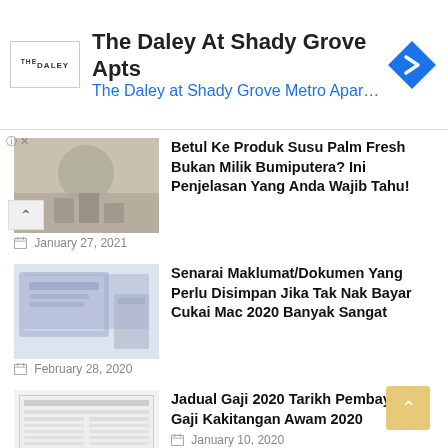[Figure (screenshot): Advertisement banner for The Daley At Shady Grove Apts with logo, title text, subtitle link, and navigation arrow icon]
Betul Ke Produk Susu Palm Fresh Bukan Milik Bumiputera? Ini Penjelasan Yang Anda Wajib Tahu!
January 27, 2021
Senarai Maklumat/Dokumen Yang Perlu Disimpan Jika Tak Nak Bayar Cukai Mac 2020 Banyak Sangat
February 28, 2020
Jadual Gaji 2020 Tarikh Pembayaran Gaji Kakitangan Awam 2020
January 10, 2020